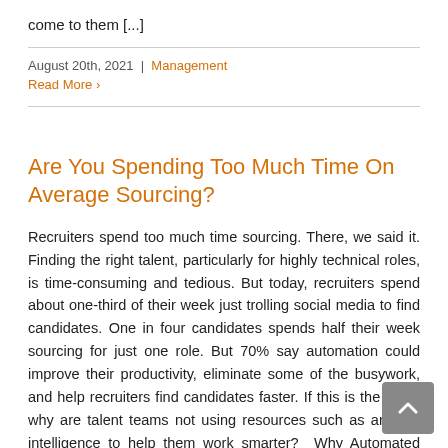come to them [...]
August 20th, 2021  |  Management
Read More >
Are You Spending Too Much Time On Average Sourcing?
Recruiters spend too much time sourcing. There, we said it. Finding the right talent, particularly for highly technical roles, is time-consuming and tedious. But today, recruiters spend about one-third of their week just trolling social media to find candidates. One in four candidates spends half their week sourcing for just one role. But 70% say automation could improve their productivity, eliminate some of the busywork, and help recruiters find candidates faster. If this is the case, why are talent teams not using resources such as artificial intelligence to help them work smarter?  Why Automated Sourcing Doesn't Suck  In 2016 Recruiting Daily